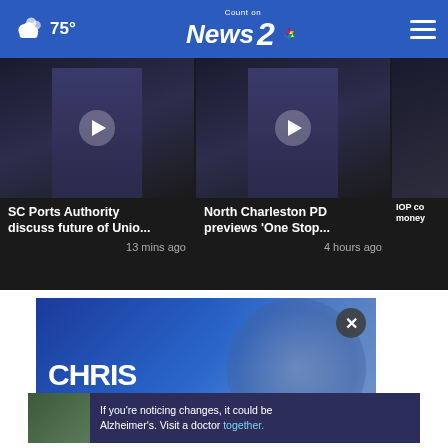75° Count on News 2 NBC
[Figure (screenshot): Video thumbnail 1: SC Ports Authority discuss future of Unio... 13 mins ago]
[Figure (screenshot): Video thumbnail 2: North Charleston PD previews 'One Stop... 4 hours ago]
[Figure (screenshot): Video thumbnail 3: IOP co... money... (partial)]
More Videos ›
[Figure (photo): Chris Cuomo promotional banner - Coming This Fall To]
If you're noticing changes, it could be Alzheimer's. Visit a doctor together.